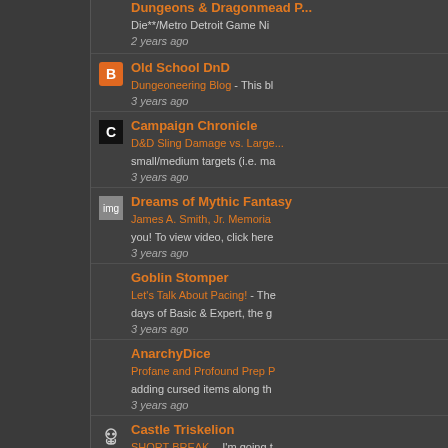Dungeons & Dragonmead Podcast - Die**/Metro Detroit Game Ni - 2 years ago
Old School DnD - Dungeoneering Blog - This bl - 3 years ago
Campaign Chronicle - D&D Sling Damage vs. Large small/medium targets (i.e. ma - 3 years ago
Dreams of Mythic Fantasy - James A. Smith, Jr. Memorial you! To view video, click here - 3 years ago
Goblin Stomper - Let's Talk About Pacing! - The days of Basic & Expert, the g - 3 years ago
AnarchyDice - Profane and Profound Prep P adding cursed items along th - 3 years ago
Castle Triskelion - SHORT BREAK. - I'm going t we'll start with Level 6 when -